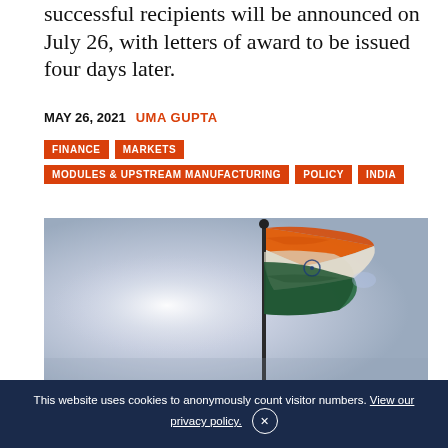successful recipients will be announced on July 26, with letters of award to be issued four days later.
MAY 26, 2021  UMA GUPTA
FINANCE
MARKETS
MODULES & UPSTREAM MANUFACTURING
POLICY
INDIA
[Figure (photo): Indian national flag waving on a flagpole against a light blue sky, with saffron, white, and green stripes and the Ashoka Chakra visible.]
This website uses cookies to anonymously count visitor numbers. View our privacy policy.